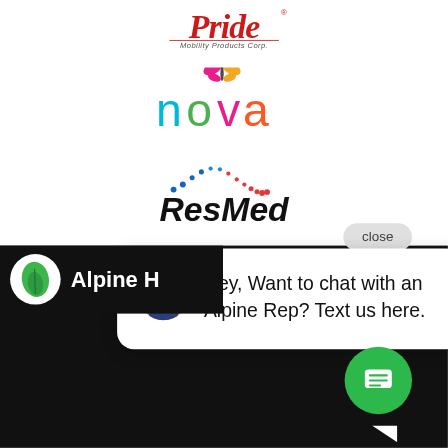[Figure (logo): Pride Mobility Products Corp. logo in red italic serif font]
[Figure (logo): Nova logo with multicolored butterfly and colorful text]
[Figure (logo): ResMed logo with dotted wave graphic above bold italic text]
[Figure (screenshot): Chat popup with close button, avatar photo of woman, and text: Hey, Want to chat with an Alpine Rep? Text us here.]
[Figure (logo): Alpine Home Medical logo with green leaf on black bar, partially visible text Alpine H]
[Figure (other): Green circular chat button with message icon in bottom right]